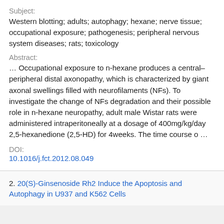Subject:
Western blotting; adults; autophagy; hexane; nerve tissue; occupational exposure; pathogenesis; peripheral nervous system diseases; rats; toxicology
Abstract:
… Occupational exposure to n-hexane produces a central–peripheral distal axonopathy, which is characterized by giant axonal swellings filled with neurofilaments (NFs). To investigate the change of NFs degradation and their possible role in n-hexane neuropathy, adult male Wistar rats were administered intraperitoneally at a dosage of 400mg/kg/day 2,5-hexanedione (2,5-HD) for 4weeks. The time course o …
DOI:
10.1016/j.fct.2012.08.049
2. 20(S)-Ginsenoside Rh2 Induce the Apoptosis and Autophagy in U937 and K562 Cells